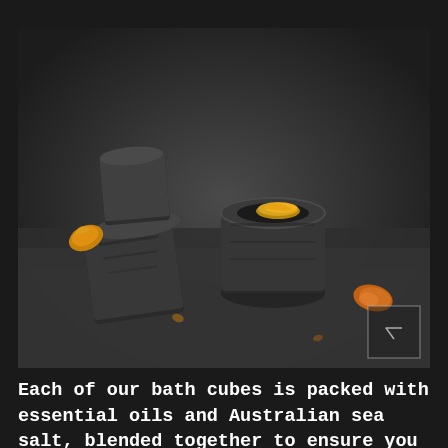[Figure (photo): Dark charcoal black bath cubes/bombs on a grey stone surface, with yellow/orange flower petals scattered around. One cube is stacked on another, and the top cube has a hollow center containing a yellow petal. Dark moody background.]
Each of our bath cubes is packed with essential oils and Australian sea salt, blended together to ensure you leave the bath with your skin feeling